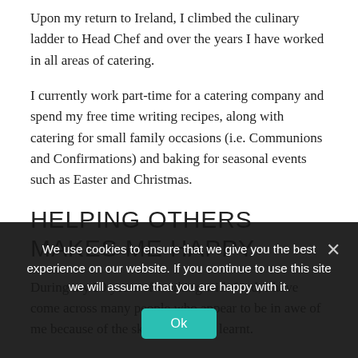Upon my return to Ireland, I climbed the culinary ladder to Head Chef and over the years I have worked in all areas of catering.
I currently work part-time for a catering company and spend my free time writing recipes, along with catering for small family occasions (i.e. Communions and Confirmations) and baking for seasonal events such as Easter and Christmas.
HELPING OTHERS MAKES ME HAPPY
During my 30 years of working with food, I have come across many people who appear to be in awe of me because of the skill that I have learnt.
Often people will tell me their stories of how they tried to “cook
We use cookies to ensure that we give you the best experience on our website. If you continue to use this site we will assume that you are happy with it.